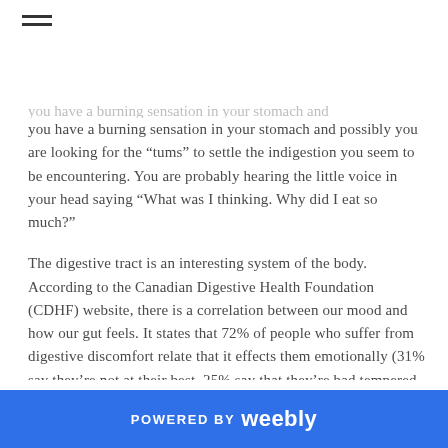≡
you have a burning sensation in your stomach and possibly you are looking for the “tums” to settle the indigestion you seem to be encountering.  You are probably hearing the little voice in your head saying “What was I thinking.  Why did I eat so much?”
The digestive tract is an interesting system of the body.  According to the Canadian Digestive Health Foundation (CDHF) website, there is a correlation between our mood and how our gut feels.   It states that 72% of people who suffer from digestive discomfort relate that it effects them emotionally (31% say they’re not at their best, 25% say that they’re bad tempered and 15% feel unattractive).  They regard the intestinal tract as a “sensory” organ because it sends
POWERED BY weebly